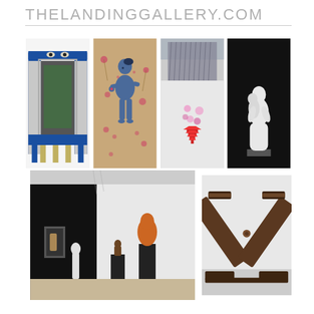THELANDINGGALLERY.COM
[Figure (photo): Blue decorative shrine/reliquary with ornate frame and open doors, displayed on white background]
[Figure (photo): Painting of a blue-skinned female figure standing among flowers on kraft paper background]
[Figure (photo): Installation art with hanging metallic curtain above a pink fluffy sphere and a red pagoda tower]
[Figure (photo): White ceramic sculpture of two embracing figures on dark plinth against black background]
[Figure (photo): Gallery installation view showing sculptures on black pedestals in a white-walled space with black accent wall]
[Figure (photo): Large wooden X-shaped sculpture on base against white wall]